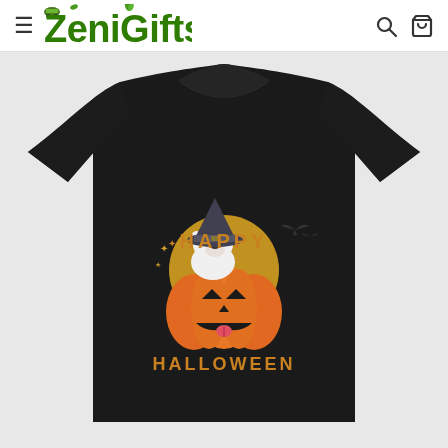ZeniGifts — navigation header with hamburger menu, logo, search and cart icons
[Figure (photo): Black t-shirt product photo with Halloween dog graphic: a Bull Terrier dog wearing a witch hat sitting inside a carved jack-o'-lantern pumpkin, with a full moon behind, bats flying, and text reading 'HAPPY HALLOWEEN' in orange letters. ZeniGifts branded product listing.]